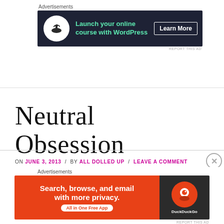Advertisements
[Figure (infographic): Dark navy advertisement banner: bonsai tree icon in white circle, teal text 'Launch your online course with WordPress', white 'Learn More' button]
REPORT THIS AD
Neutral Obsession
ON JUNE 3, 2013  /  BY ALL DOLLED UP  /  LEAVE A COMMENT
Advertisements
[Figure (infographic): Orange and dark advertisement for DuckDuckGo: 'Search, browse, and email with more privacy. All in One Free App' with DuckDuckGo logo on dark right panel]
REPORT THIS AD